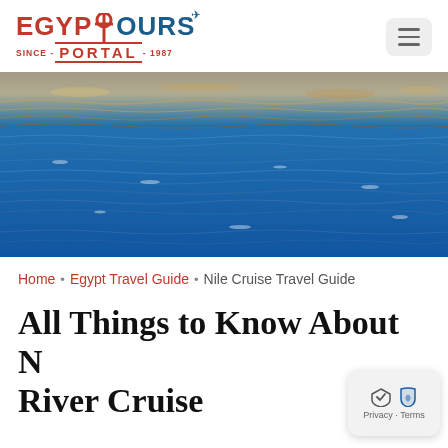[Figure (logo): Egypt Tours Portal logo with red EGYPT text, blue TOURS text, ankh and plane icons, and SINCE-PORTAL-1987 tagline]
[Figure (photo): Hero banner photo of the Nile River showing blue water with ripples and golden reflections of buildings along the riverbank]
Home • Egypt Travel Guide • Nile Cruise Travel Guide
All Things to Know About Nile River Cruise